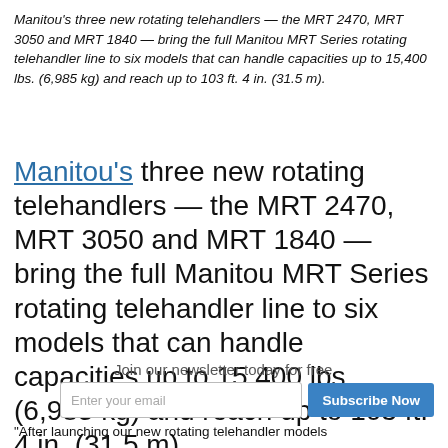Manitou's three new rotating telehandlers — the MRT 2470, MRT 3050 and MRT 1840 — bring the full Manitou MRT Series rotating telehandler line to six models that can handle capacities up to 15,400 lbs. (6,985 kg) and reach up to 103 ft. 4 in. (31.5 m).
Manitou's three new rotating telehandlers — the MRT 2470, MRT 3050 and MRT 1840 — bring the full Manitou MRT Series rotating telehandler line to six models that can handle capacities up to 15,400 lbs. (6,985 kg) and reach up to 103 ft. 4 in. (31.5 m).
Join our newsletter today for free
Enter your email
Subscribe Now
"After launching our new rotating telehandler models